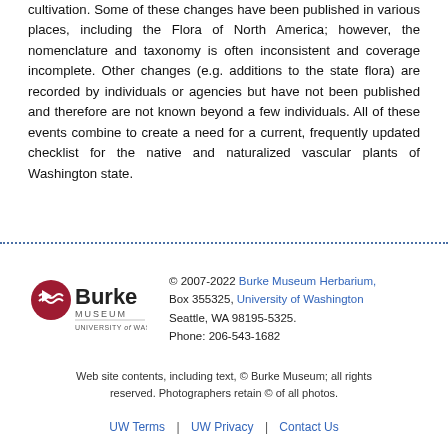cultivation. Some of these changes have been published in various places, including the Flora of North America; however, the nomenclature and taxonomy is often inconsistent and coverage incomplete. Other changes (e.g. additions to the state flora) are recorded by individuals or agencies but have not been published and therefore are not known beyond a few individuals. All of these events combine to create a need for a current, frequently updated checklist for the native and naturalized vascular plants of Washington state.
[Figure (logo): Burke Museum, University of Washington logo with red circular emblem]
© 2007-2022 Burke Museum Herbarium, Box 355325, University of Washington Seattle, WA 98195-5325. Phone: 206-543-1682
Web site contents, including text, © Burke Museum; all rights reserved. Photographers retain © of all photos.
UW Terms | UW Privacy | Contact Us